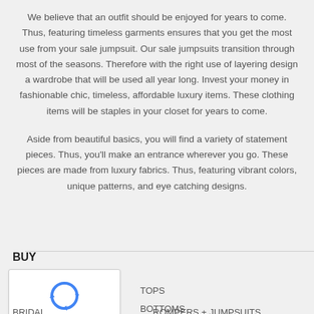We believe that an outfit should be enjoyed for years to come. Thus, featuring timeless garments ensures that you get the most use from your sale jumpsuit. Our sale jumpsuits transition through most of the seasons. Therefore with the right use of layering design a wardrobe that will be used all year long. Invest your money in fashionable chic, timeless, affordable luxury items. These clothing items will be staples in your closet for years to come.
Aside from beautiful basics, you will find a variety of statement pieces. Thus, you'll make an entrance wherever you go. These pieces are made from luxury fabrics. Thus, featuring vibrant colors, unique patterns, and eye catching designs.
BUY
[Figure (other): reCAPTCHA widget with recycling arrow logo and Privacy - Terms text]
TOPS
BOTTOMS
BRIDAL
ROMPERS + JUMPSUITS